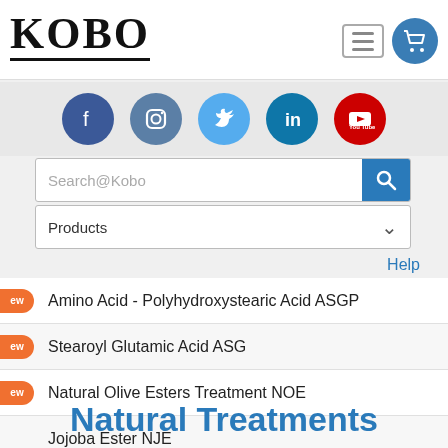KOBO
[Figure (screenshot): Social media icons: Facebook, Instagram, Twitter, LinkedIn, YouTube]
Search@Kobo
Products
Help
Amino Acid - Polyhydroxystearic Acid ASGP
Stearoyl Glutamic Acid ASG
Natural Olive Esters Treatment NOE
Jojoba Ester NJE
Magnesium Myristate MM
Hydrogenated Lecithin NPC
Lecithin CL
Silica SIH
Natural Treatments